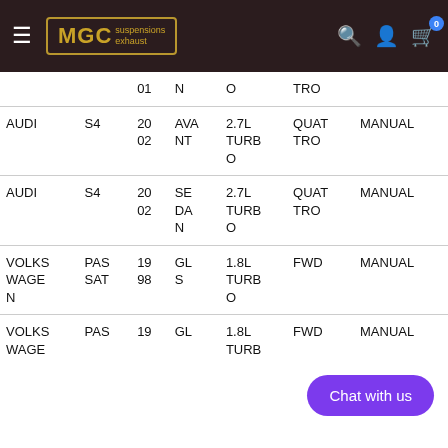MGC suspensions exhaust — navigation header
| MAKE | MODEL | YEAR | STYLE | ENGINE | DRIVE | TRANS |
| --- | --- | --- | --- | --- | --- | --- |
|  |  | 01 | N | O | TRO |  |
| AUDI | S4 | 2002 | AVANT | 2.7L TURBO | QUATTRO | MANUAL |
| AUDI | S4 | 2002 | SEDAN | 2.7L TURBO | QUATTRO | MANUAL |
| VOLKSWAGEN | PASSAT | 1998 | GLS | 1.8L TURBO | FWD | MANUAL |
| VOLKSWAGEN | PASSAT | 19 | GL | 1.8L TURBO | FWD | MANUAL |
Chat with us